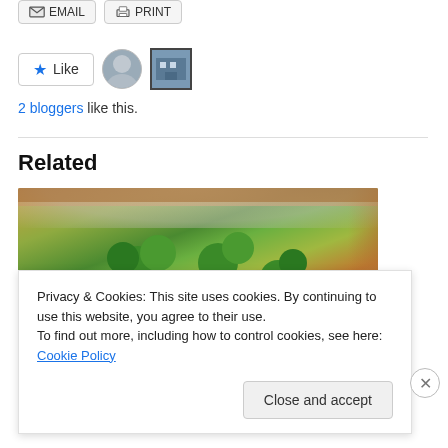[Figure (screenshot): Email and Print buttons at top of page]
[Figure (screenshot): Like button with star icon and two blogger avatar thumbnails]
2 bloggers like this.
Related
[Figure (photo): Photo of pasta/grain salad with broccoli, tomatoes, and vegetables in a white bowl on a wooden table]
Privacy & Cookies: This site uses cookies. By continuing to use this website, you agree to their use.
To find out more, including how to control cookies, see here: Cookie Policy
Close and accept